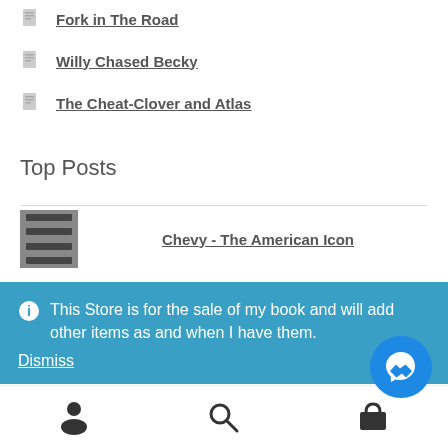Fork in The Road
Willy Chased Becky
The Cheat-Clover and Atlas
Top Posts
Chevy - The American Icon
This Store is for the sale of my book and will add other items as and when I have them.
Dismiss